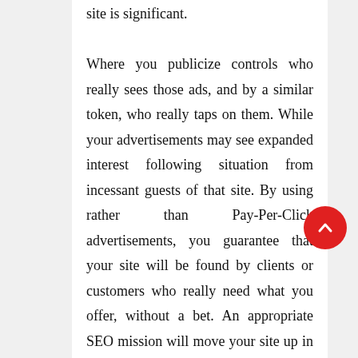site is significant. Where you publicize controls who really sees those ads, and by a similar token, who really taps on them. While your advertisements may see expanded interest following situation from incessant guests of that site. By using rather than Pay-Per-Click advertisements, you guarantee that your site will be found by clients or customers who really need what you offer, without a bet. An appropriate SEO mission will move your site up in the rankings naturally, without depending